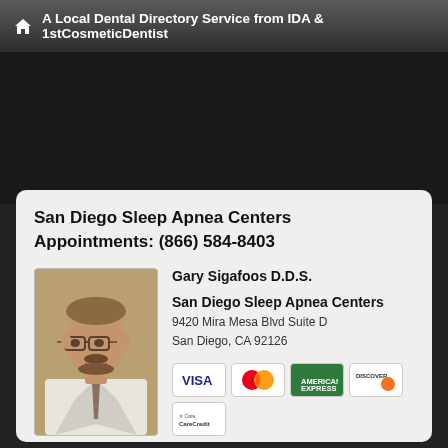A Local Dental Directory Service from IDA & 1stCosmeticDentist
San Diego Sleep Apnea Centers
Appointments: (866) 584-8403
[Figure (photo): Portrait photo of Gary Sigafoos D.D.S., a middle-aged man with glasses, mustache and beard, wearing a white jacket]
Gary Sigafoos D.D.S.
San Diego Sleep Apnea Centers
9420 Mira Mesa Blvd Suite D
San Diego, CA 92126
[Figure (other): Payment method icons: VISA, MasterCard, American Express, Discover, CareCredit]